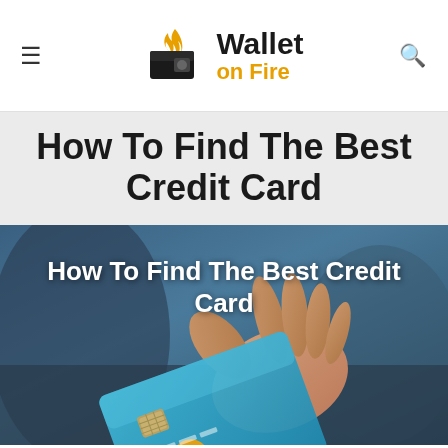Wallet on Fire
How To Find The Best Credit Card
[Figure (photo): A hand holding a blue credit card with Mastercard logo, with overlaid text reading 'How To Find The Best Credit Card']